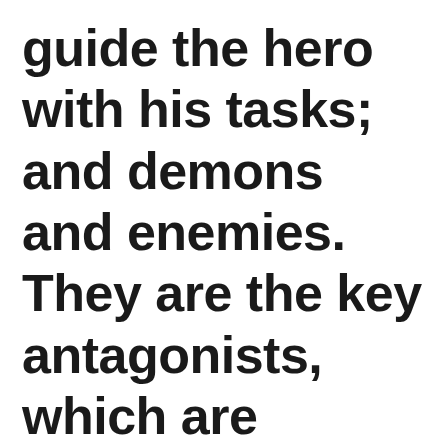guide the hero with his tasks; and demons and enemies. They are the key antagonists, which are criminals and should be ignored, for the reason that the